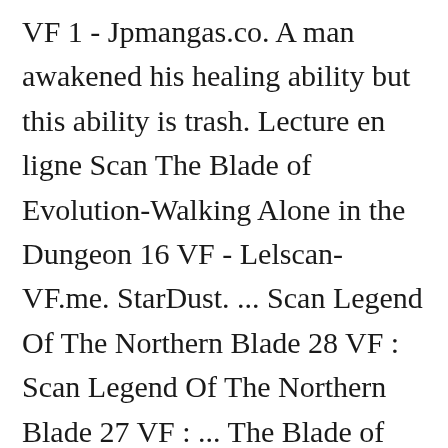VF 1 - Jpmangas.co. A man awakened his healing ability but this ability is trash. Lecture en ligne Scan The Blade of Evolution-Walking Alone in the Dungeon 16 VF - Lelscan-VF.me. StarDust. ... Scan Legend Of The Northern Blade 28 VF : Scan Legend Of The Northern Blade 27 VF : ... The Blade of Evolution – Walking Alone in the Dungeon » Chapitre 4 VF We value your privacy We and our partners store and/or access information on a device, such as cookies and process personal data, such as unique identifiers and standard information sent by a device for personalised ads and content, ad and content measurement, and audience insights, as well as... Chapitre 58:  in this dungeon he got a